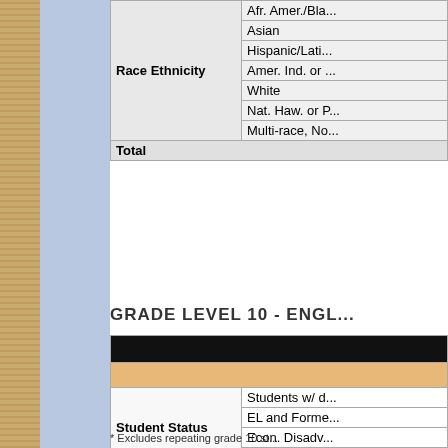|  | Category |
| --- | --- |
| Race Ethnicity | Afr. Amer./Bla... |
| Race Ethnicity | Asian |
| Race Ethnicity | Hispanic/Lati... |
| Race Ethnicity | Amer. Ind. or ... |
| Race Ethnicity | White |
| Race Ethnicity | Nat. Haw. or P... |
| Race Ethnicity | Multi-race, No... |
| Total |  |
GRADE LEVEL 10 - ENGL...
|  |  |
| --- | --- |
|  |  |
|  |  |
| Student Status | Students w/ d... |
| Student Status | EL and Forme... |
| Student Status | Econ. Disadv... |
| Student Status | High needs |
| Race Ethnicity | Afr. Amer./Bla... |
| Race Ethnicity | Asian |
| Race Ethnicity | Hispanic/Lati... |
| Race Ethnicity | Amer. Ind. or ... |
| Race Ethnicity | White |
| Race Ethnicity | Nat. Haw. or P... |
| Race Ethnicity | Multi-race, No... |
| Total |  |
* Excludes repeating grade 10 st...